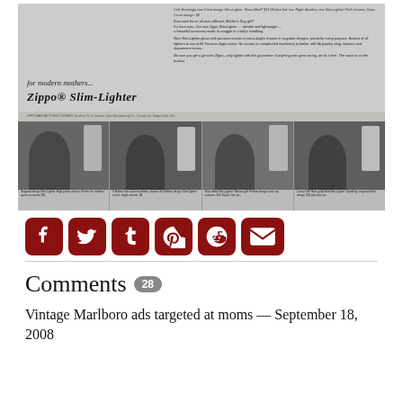[Figure (photo): Vintage Zippo Slim-Lighter advertisement in black and white, showing women using slim lighters with tagline 'for modern mothers... ZIPPO Slim-Lighter', product descriptions on right, and four photos of women with different lighter designs at bottom with captions.]
[Figure (infographic): Social sharing buttons row: Facebook, Twitter, Tumblr, Pinterest, Reddit, Email — all in dark red/crimson rounded square icons.]
Comments 28
Vintage Marlboro ads targeted at moms — September 18, 2008